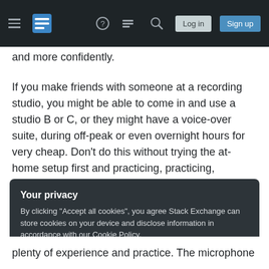Stack Exchange navigation bar with hamburger menu, logo, help, chat, search icons, Log in and Sign up buttons
and more confidently.
If you make friends with someone at a recording studio, you might be able to come in and use a studio B or C, or they might have a voice-over suite, during off-peak or even overnight hours for very cheap. Don't do this without trying the at-home setup first and practicing, practicing, practicing the dialog and getting your inflections, delivery and all other aspects of your performance down so that it's second nature to you.
Your privacy
By clicking "Accept all cookies", you agree Stack Exchange can store cookies on your device and disclose information in accordance with our Cookie Policy.
Accept all cookies
Customize settings
plenty of experience and practice. The microphone